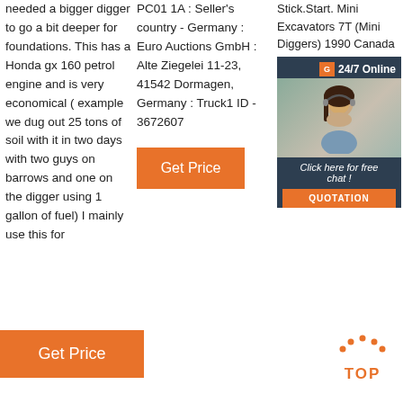needed a bigger digger to go a bit deeper for foundations. This has a Honda gx 160 petrol engine and is very economical ( example we dug out 25 tons of soil with it in two days with two guys on barrows and one on the digger using 1 gallon of fuel) I mainly use this for
PC01 1A : Seller's country - Germany : Euro Auctions GmbH : Alte Ziegelei 11-23, 41542 Dormagen, Germany : Truck1 ID - 3672607
[Figure (infographic): 24/7 Online chat widget with orange button, photo of woman with headset, 'Click here for free chat!' text, and QUOTATION button]
Stick.Start. Mini Excavators 7T (Mini Diggers) 1990 Canada
[Figure (infographic): Get Price orange button in column 2]
[Figure (infographic): Get Price orange button at bottom left]
[Figure (logo): TOP icon with orange dots arc and orange bold text TOP]